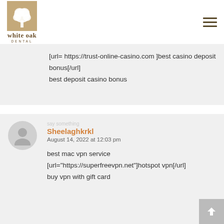[Figure (logo): White Oak Dental logo with tree icon]
[url= https://trust-online-casino.com ]best casino deposit bonus[/url]
best deposit casino bonus
Sheelaghkrkl
August 14, 2022 at 12:03 pm
best mac vpn service
[url="https://superfreevpn.net"]hotspot vpn[/url]
buy vpn with gift card